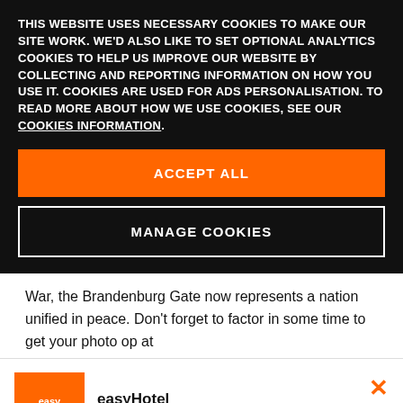THIS WEBSITE USES NECESSARY COOKIES TO MAKE OUR SITE WORK. WE'D ALSO LIKE TO SET OPTIONAL ANALYTICS COOKIES TO HELP US IMPROVE OUR WEBSITE BY COLLECTING AND REPORTING INFORMATION ON HOW YOU USE IT. COOKIES ARE USED FOR ADS PERSONALISATION. TO READ MORE ABOUT HOW WE USE COOKIES, SEE OUR COOKIES INFORMATION.
ACCEPT ALL
MANAGE COOKIES
War, the Brandenburg Gate now represents a nation unified in peace. Don't forget to factor in some time to get your photo op at
[Figure (logo): easyHotel orange square logo with white text reading 'easyHotel']
easyHotel
Available in the App Store
VIEW IN APP
GET APP